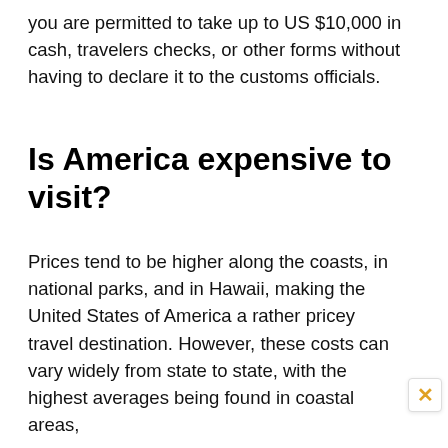you are permitted to take up to US $10,000 in cash, travelers checks, or other forms without having to declare it to the customs officials.
Is America expensive to visit?
Prices tend to be higher along the coasts, in national parks, and in Hawaii, making the United States of America a rather pricey travel destination. However, these costs can vary widely from state to state, with the highest averages being found in coastal areas,